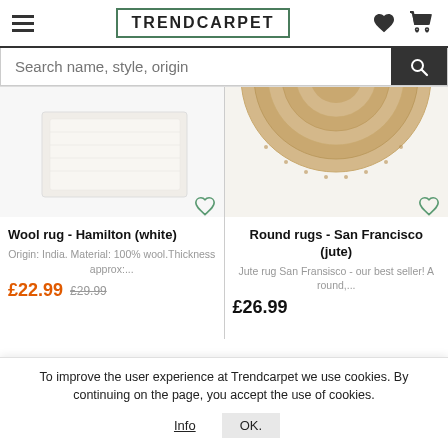TRENDCARPET
Search name, style, origin
[Figure (photo): White wool rug product image]
Wool rug - Hamilton (white)
Origin: India. Material: 100% wool.Thickness approx:...
£22.99 £29.99
[Figure (photo): Round jute rug product image]
Round rugs - San Francisco (jute)
Jute rug San Fransisco - our best seller! A round,...
£26.99
To improve the user experience at Trendcarpet we use cookies. By continuing on the page, you accept the use of cookies.
Info   OK.